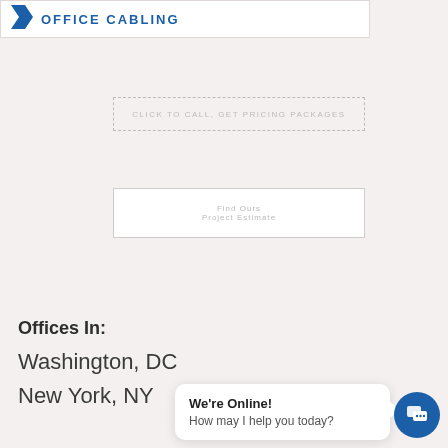[Figure (logo): Office cabling company logo with blue chevron/arrow icon and text OFFICE CABLING in blue uppercase letters]
CLICK TO CALL, GET PRICING PACKAGES
Find Ours Project Estimate
Offices In:
Washington, DC
New York, NY
We're Online!
How may I help you today?